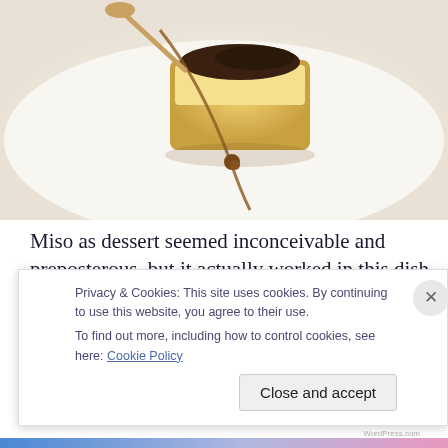[Figure (photo): A close-up food photo showing a dessert dish on a white plate — appears to be a caramel miso cream dessert with golden/yellow cake or cream component, dark caramel sauce being drizzled, on a white plate background.]
Miso as dessert seemed inconceivable and preposterous, but it actually worked in this dish of caramel miso cream with almond cinnamon crumble, apricot sorbet, buttermilk foam and pistachios.  The miso ice cream in its solitary form was nothing to ride home about, but a magical chemical reaction occurred when consumed with the
Privacy & Cookies: This site uses cookies. By continuing to use this website, you agree to their use.
To find out more, including how to control cookies, see here: Cookie Policy